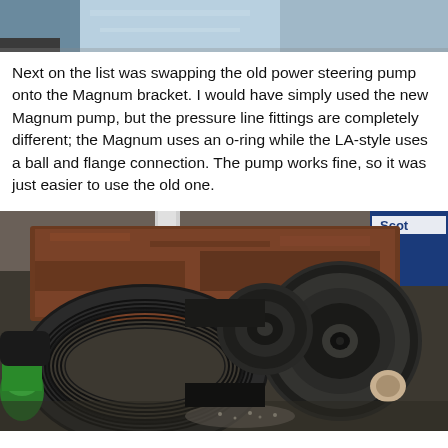[Figure (photo): Top portion of a photo showing a mechanical part, partially cropped at top of page]
Next on the list was swapping the old power steering pump onto the Magnum bracket. I would have simply used the new Magnum pump, but the pressure line fittings are completely different; the Magnum uses an o-ring while the LA-style uses a ball and flange connection. The pump works fine, so it was just easier to use the old one.
[Figure (photo): Photograph of a power steering pump pulley and serpentine belt laid on a workbench in a garage/workshop setting. A large black ribbed serpentine belt wraps around two metal pulleys on a rusty bracket. Green fluid bottle and other workshop items visible in background. A blue container labeled 'Scotch' visible in top right.]